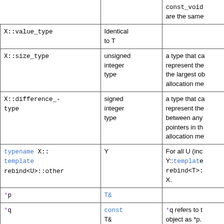| Expression | Return type | Description |
| --- | --- | --- |
| const_void... | are the same |  |
| X::value_type | Identical to T |  |
| X::size_type | unsigned integer type | a type that ca... represent the... the largest ob... allocation me... |
| X::difference_-type | signed integer type | a type that ca... represent the... between any... pointers in th... allocation me... |
| typename X:: template rebind<U>::other | Y | For all U (inc... Y::template rebind<T>:... X. |
| *p | T& |  |
| *q | const T& | *q refers to t... object as *p. |